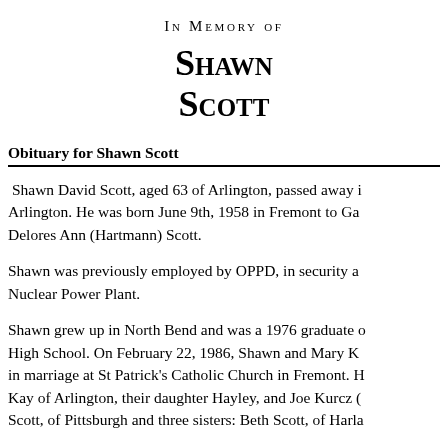In Memory of
Shawn Scott
Obituary for Shawn Scott
Shawn David Scott, aged 63 of Arlington, passed away in Arlington. He was born June 9th, 1958 in Fremont to Ga Delores Ann (Hartmann) Scott.
Shawn was previously employed by OPPD, in security a Nuclear Power Plant.
Shawn grew up in North Bend and was a 1976 graduate of High School. On February 22, 1986, Shawn and Mary K in marriage at St Patrick's Catholic Church in Fremont. H Kay of Arlington, their daughter Hayley, and Joe Kurcz ( Scott, of Pittsburgh and three sisters: Beth Scott, of Harla